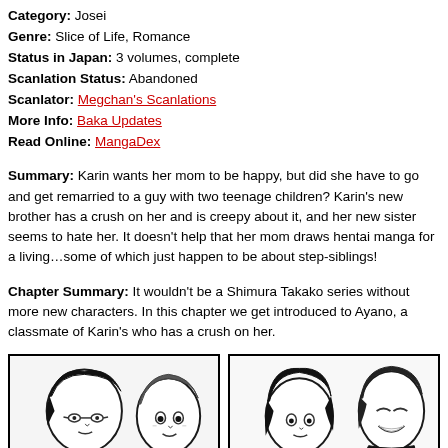Category: Josei
Genre: Slice of Life, Romance
Status in Japan: 3 volumes, complete
Scanlation Status: Abandoned
Scanlator: Megchan's Scanlations
More Info: Baka Updates
Read Online: MangaDex
Summary: Karin wants her mom to be happy, but did she have to go and get remarried to a guy with two teenage children? Karin's new brother has a crush on her and is creepy about it, and her new sister seems to hate her. It doesn't help that her mom draws hentai manga for a living…some of which just happen to be about step-siblings!
Chapter Summary: It wouldn't be a Shimura Takako series without more new characters. In this chapter we get introduced to Ayano, a classmate of Karin's who has a crush on her.
[Figure (illustration): Two manga-style panels showing anime characters in black and white line art style. Left panel shows characters with glasses close together. Right panel shows two characters including one with short dark hair.]